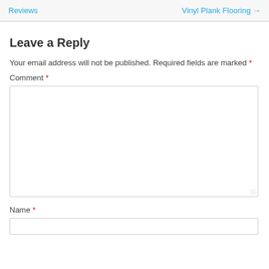Reviews   Vinyl Plank Flooring →
Leave a Reply
Your email address will not be published. Required fields are marked *
Comment *
Name *